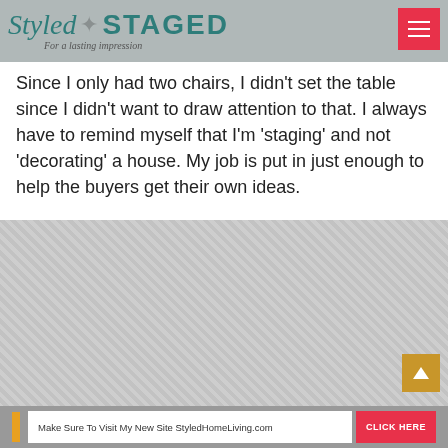Styled & STAGED — For a lasting impression
Since I only had two chairs, I didn't set the table since I didn't want to draw attention to that. I always have to remind myself that I'm 'staging' and not 'decorating' a house. My job is put in just enough to help the buyers get their own ideas.
[Figure (photo): Blurred/faded interior photo of a staged room, partially obscured]
Make Sure To Visit My New Site StyledHomeLiving.com  CLICK HERE